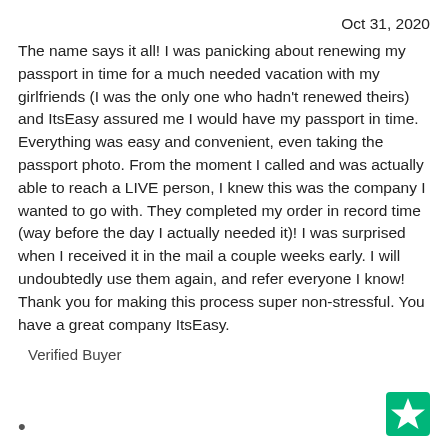Oct 31, 2020
The name says it all! I was panicking about renewing my passport in time for a much needed vacation with my girlfriends (I was the only one who hadn't renewed theirs) and ItsEasy assured me I would have my passport in time. Everything was easy and convenient, even taking the passport photo. From the moment I called and was actually able to reach a LIVE person, I knew this was the company I wanted to go with. They completed my order in record time (way before the day I actually needed it)! I was surprised when I received it in the mail a couple weeks early. I will undoubtedly use them again, and refer everyone I know! Thank you for making this process super non-stressful. You have a great company ItsEasy.
Verified Buyer
[Figure (logo): Trustpilot green star logo icon in bottom right corner]